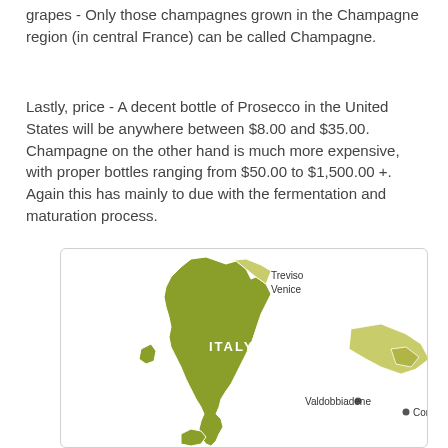grapes - Only those champagnes grown in the Champagne region (in central France) can be called Champagne.
Lastly, price - A decent bottle of Prosecco in the United States will be anywhere between $8.00 and $35.00. Champagne on the other hand is much more expensive, with proper bottles ranging from $50.00 to $1,500.00 +. Again this has mainly to due with the fermentation and maturation process.
[Figure (map): Map of Italy showing the Prosecco wine regions of Treviso, Venice, Valdobbiadene, and Conegliano highlighted in lighter olive/yellow-green color against the darker olive-green of the rest of Italy.]